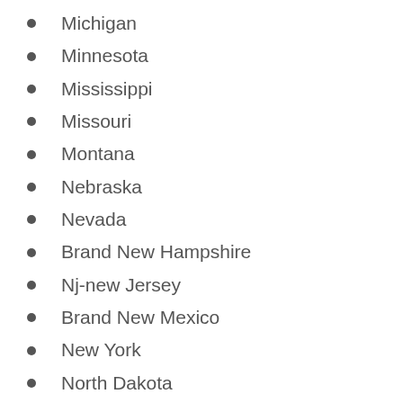Michigan
Minnesota
Mississippi
Missouri
Montana
Nebraska
Nevada
Brand New Hampshire
Nj-new Jersey
Brand New Mexico
New York
North Dakota
Ohio
Oklahoma
Oregon